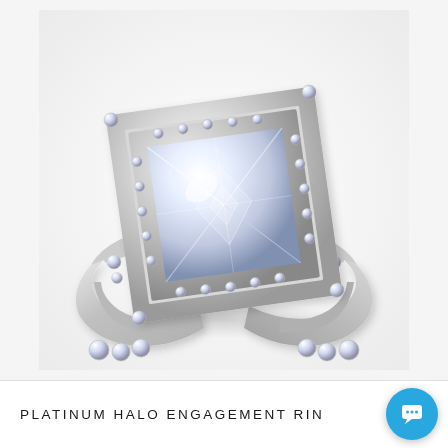[Figure (photo): A platinum halo engagement ring with a princess-cut diamond center stone set in a square bezel halo, surrounded by smaller round diamonds, with diamond-studded split shank band, photographed on white background.]
PLATINUM HALO ENGAGEMENT RING